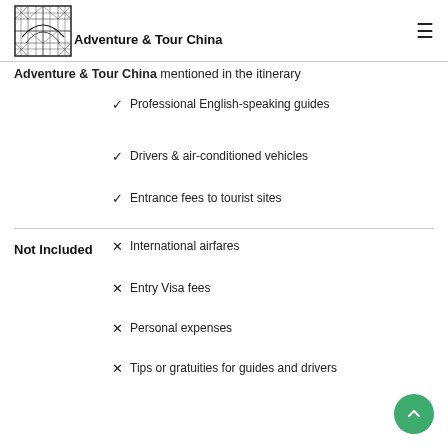Adventure & Tour China
mentioned in the itinerary
Professional English-speaking guides
Drivers & air-conditioned vehicles
Entrance fees to tourist sites
Not Included
International airfares
Entry Visa fees
Personal expenses
Tips or gratuities for guides and drivers